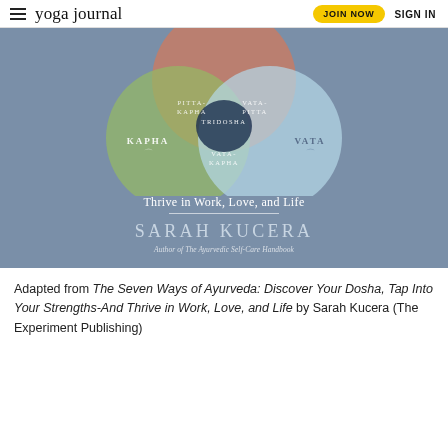yoga journal | JOIN NOW | SIGN IN
[Figure (illustration): Book cover for 'The Seven Ways of Ayurveda' by Sarah Kucera. Features a Venn diagram of three overlapping circles on a slate-blue background representing the three doshas: Kapha (green, left), Pitta (salmon/orange, top), and Vata (light blue, right). Overlapping regions are labeled PITTA-KAPHA, VATA-PITTA, VATA-KAPHA, and the center is TRIDOSHA. Subtitle reads 'Thrive in Work, Love, and Life'. Author: Sarah Kucera. Author of The Ayurvedic Self-Care Handbook.]
Adapted from The Seven Ways of Ayurveda: Discover Your Dosha, Tap Into Your Strengths-And Thrive in Work, Love, and Life by Sarah Kucera (The Experiment Publishing)